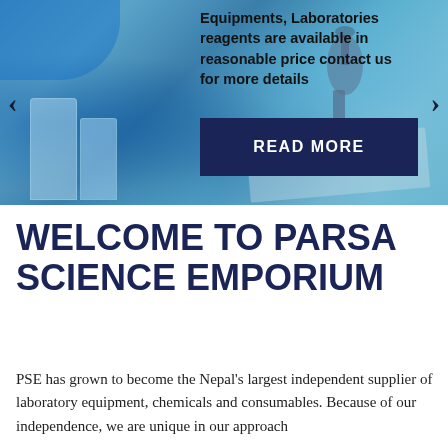[Figure (photo): Hero banner image of a laboratory setting with scientist in blue gloves working at a microscope, laboratory glassware/bottles in the foreground, clipboard with papers visible]
Equipments, Laboratories reagents are available in reasonable price contact us for more details
READ MORE
WELCOME TO PARSA SCIENCE EMPORIUM
PSE has grown to become the Nepal's largest independent supplier of laboratory equipment, chemicals and consumables. Because of our independence, we are unique in our approach